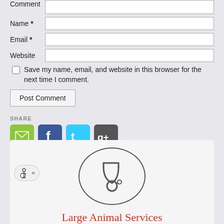Comment
Name *
Email *
Website
Save my name, email, and website in this browser for the next time I comment.
Post Comment
SHARE
[Figure (infographic): Social share icons: email (green), Facebook (blue), Twitter (cyan), Google+ (dark gray)]
[Figure (illustration): Stethoscope icon inside a circle]
Large Animal Services